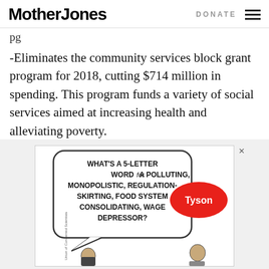Mother Jones | DONATE
pg
-Eliminates the community services block grant program for 2018, cutting $714 million in spending. This program funds a variety of social services aimed at increasing health and alleviating poverty.
[Figure (illustration): Advertisement cartoon: a speech bubble reads 'WHAT'S A 5-LETTER WORD for A POLLUTING, MONOPOLISTIC, REGULATION-SKIRTING, FOOD SYSTEM CONSOLIDATING, WAGE DEPRESSOR?' with a Tyson logo speech bubble in response. Two figures are shown — a man reading and a woman reacting.]